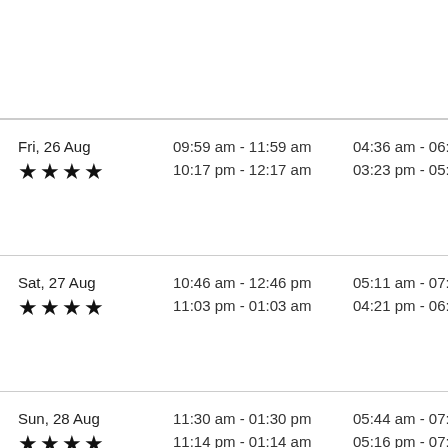| Date | Time Slot 1 | Time Slot 2 |
| --- | --- | --- |
| Fri, 26 Aug ★★★★ | 09:59 am - 11:59 am
10:17 pm - 12:17 am | 04:36 am - 06:36 ...
03:23 pm - 05:23 ... |
| Sat, 27 Aug ★★★★ | 10:46 am - 12:46 pm
11:03 pm - 01:03 am | 05:11 am - 07:11 ...
04:21 pm - 06:21 ... |
| Sun, 28 Aug ★★★★ | 11:30 am - 01:30 pm
11:14 pm - 01:14 am | 05:44 am - 07:44 ...
05:16 pm - 07:16 ... |